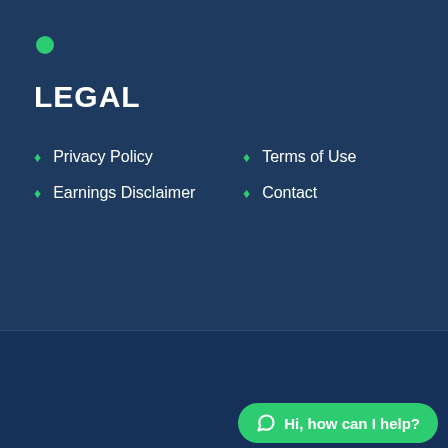[Figure (illustration): Green circle dot decoration]
LEGAL
Privacy Policy
Terms of Use
Earnings Disclaimer
Contact
[Figure (illustration): Social media icons: Twitter, Facebook, Instagram, YouTube]
Copyright © 2019 Rocketsales
[Figure (illustration): WhatsApp chat button: Hi, how can I help?]